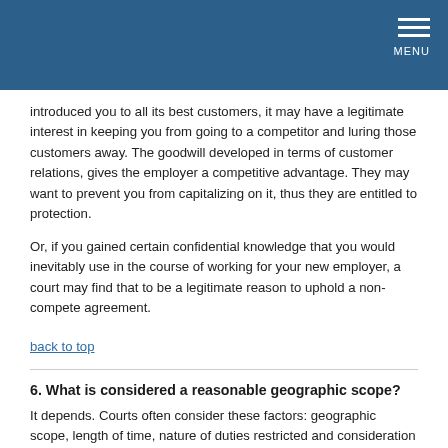MENU
introduced you to all its best customers, it may have a legitimate interest in keeping you from going to a competitor and luring those customers away. The goodwill developed in terms of customer relations, gives the employer a competitive advantage. They may want to prevent you from capitalizing on it, thus they are entitled to protection.
Or, if you gained certain confidential knowledge that you would inevitably use in the course of working for your new employer, a court may find that to be a legitimate reason to uphold a non-compete agreement.
back to top
6. What is considered a reasonable geographic scope?
It depends. Courts often consider these factors: geographic scope, length of time, nature of duties restricted and consideration – in relation to one another. For instance, a broad geographic scope – say an entire state – may be more likely to be enforceable if the duration of the restriction is short – say a month. On the other hand, a broad geographic scope coupled with a long time period of prohibition is more likely to be held unenforceable by a court. When